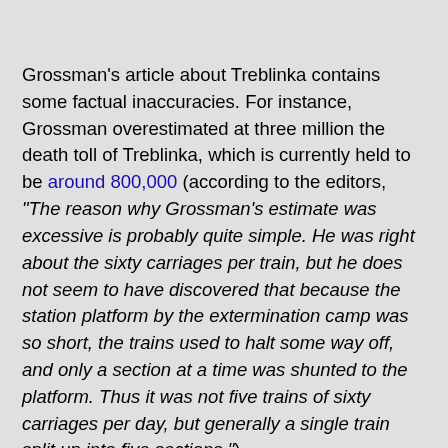Grossman's article about Treblinka contains some factual inaccuracies. For instance, Grossman overestimated at three million the death toll of Treblinka, which is currently held to be around 800,000 (according to the editors, "The reason why Grossman’s estimate was excessive is probably quite simple. He was right about the sixty carriages per train, but he does not seem to have discovered that because the station platform by the extermination camp was so short, the trains used to halt some way off, and only a section at a time was shunted to the platform. Thus it was not five trains of sixty carriages per day, but generally a single train split up into five sections.").
Yet despite these inaccuracies, Grossman's Treblinka article stands out for the author's unique attempt to understand the confusion in the minds of the deportees and the hopelessness of their situation, which led to the passivity of most in being taken to the gas chambers. The respective